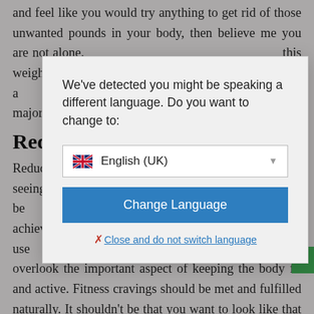and feel like you would try anything to get rid of those unwanted pounds in your body, then believe me you are not alone.
Red...
Reduc... u start seeing ... ckly), it will be ... city to achieve ... tools to use ... people often overlook the important aspect of keeping the body fit and active. Fitness cravings should be met and fulfilled naturally. It shouldn't be that you want to look like that guy on TV. The media world can be such a handful sometimes. If you still feel like you can't, it's essential to...
[Figure (screenshot): Language detection modal dialog box with message 'We've detected you might be speaking a different language. Do you want to change to:' and a dropdown showing 'English (UK)' with a UK flag, a blue 'Change Language' button, and a 'Close and do not switch language' link.]